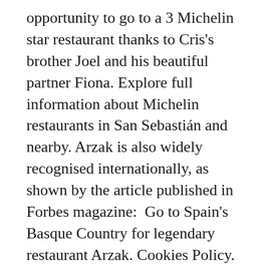opportunity to go to a 3 Michelin star restaurant thanks to Cris's brother Joel and his beautiful partner Fiona. Explore full information about Michelin restaurants in San Sebastián and nearby. Arzak is also widely recognised internationally, as shown by the article published in Forbes magazine:  Go to Spain's Basque Country for legendary restaurant Arzak. Cookies Policy. Subijana's cooking is praised around the world, as shown by a report published in The Food Journal. Do you know how many Michelin stars there are within that small circle, within just a ten-minute drive? Located in an exceptional gastronomic territory, the Bidasoa region, Alameda offers menus with local and seasonal